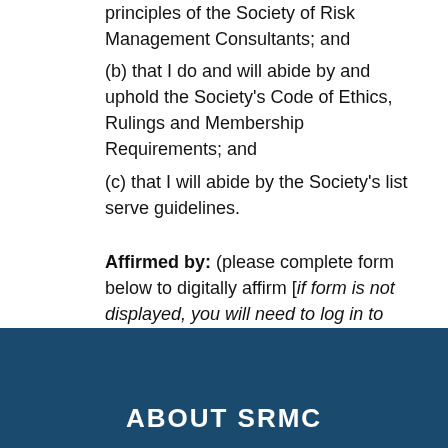principles of the Society of Risk Management Consultants; and
(b) that I do and will abide by and uphold the Society's Code of Ethics, Rulings and Membership Requirements; and
(c) that I will abide by the Society's list serve guidelines.
Affirmed by: (please complete form below to digitally affirm [if form is not displayed, you will need to log in to the website by clicking the link below])
ABOUT SRMC